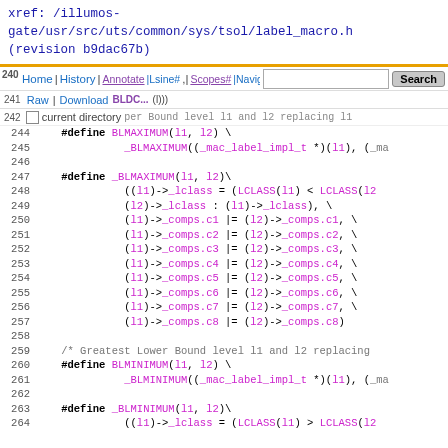xref: /illumos-gate/usr/src/uts/common/sys/tsol/label_macro.h (revision b9dac67b)
Home | History | Annotate | Line# | Scope# | Navigate# && Raw | Download BLDC... Search current directory
[Figure (screenshot): Source code viewer showing C preprocessor macros: BLMAXIMUM and _BLMAXIMUM for Least Upper Bound, and BLMINIMUM and _BLMINIMUM for Greatest Lower Bound, lines 244-264]